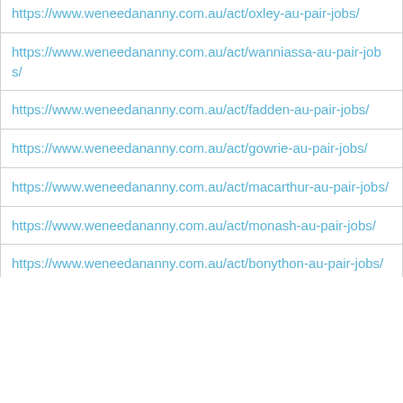| https://www.weneedananny.com.au/act/oxley-au-pair-jobs/ |
| https://www.weneedananny.com.au/act/wanniassa-au-pair-jobs/ |
| https://www.weneedananny.com.au/act/fadden-au-pair-jobs/ |
| https://www.weneedananny.com.au/act/gowrie-au-pair-jobs/ |
| https://www.weneedananny.com.au/act/macarthur-au-pair-jobs/ |
| https://www.weneedananny.com.au/act/monash-au-pair-jobs/ |
| https://www.weneedananny.com.au/act/bonython-au-pair-jobs/ |